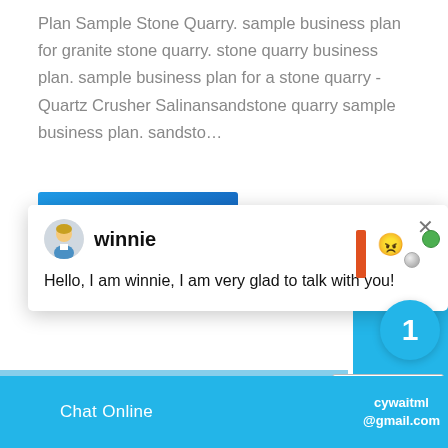Plan Sample Stone Quarry. sample business plan for granite stone quarry. stone quarry business plan. sample business plan for a stone quarry - Quartz Crusher Salinansandstone quarry sample business plan. sandsto…
[Figure (screenshot): Blue 'Get Quote' button]
[Figure (screenshot): Chat popup with avatar of 'winnie' and message: Hello, I am winnie, I am very glad to talk with you!]
[Figure (photo): Industrial stone quarry machinery/equipment photo]
Chat Online
cywaitml@gmail.com